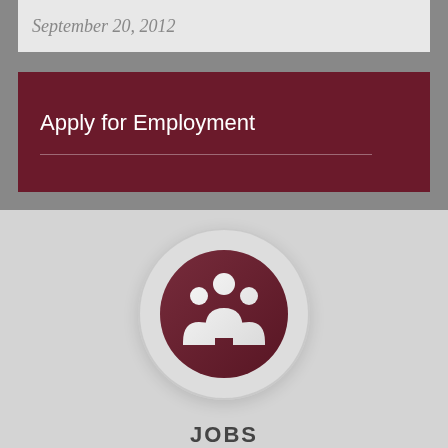September 20, 2012
Apply for Employment
[Figure (illustration): A circular icon showing three white silhouetted figures (people/group) on a dark maroon/burgundy background, surrounded by a light grey outer ring, representing Jobs.]
JOBS